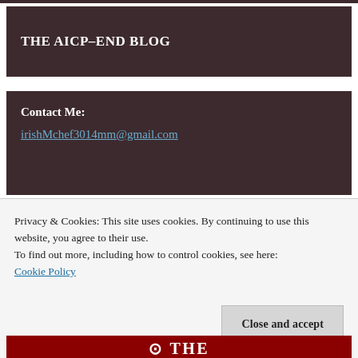THE AICP-END BLOG
Contact Me:
irishMchef3014mm@gmail.com
Privacy & Cookies: This site uses cookies. By continuing to use this website, you agree to their use.
To find out more, including how to control cookies, see here:
Cookie Policy
Close and accept